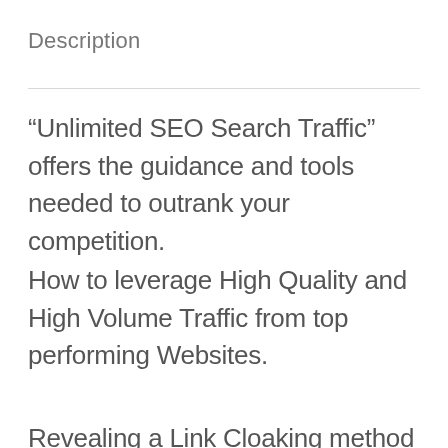Description
“Unlimited SEO Search Traffic” offers the guidance and tools needed to outrank your competition.
How to leverage High Quality and High Volume Traffic from top performing Websites.
Revealing a Link Cloaking method to